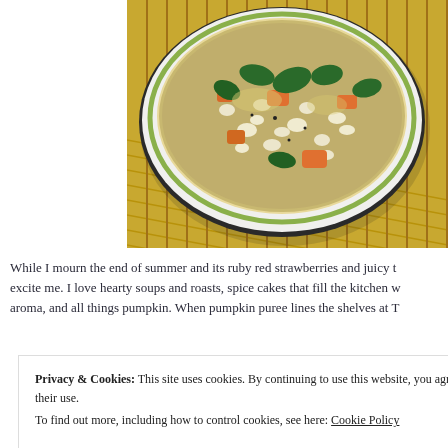[Figure (photo): A bowl of white bean soup with carrots, spinach, and other vegetables, served in a white bowl with green rim, placed on a bamboo/yellow slatted mat.]
While I mourn the end of summer and its ruby red strawberries and juicy t... excite me. I love hearty soups and roasts, spice cakes that fill the kitchen w... aroma, and all things pumpkin. When pumpkin puree lines the shelves at T...
Privacy & Cookies: This site uses cookies. By continuing to use this website, you agree to their use.
To find out more, including how to control cookies, see here: Cookie Policy
Close and accept